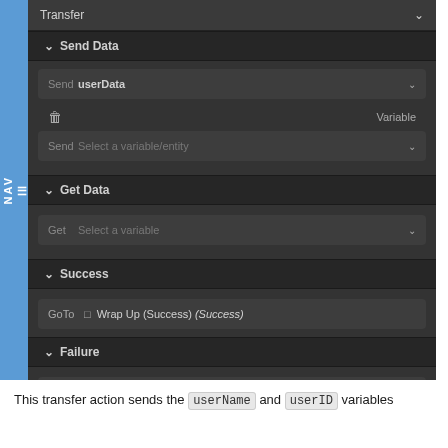[Figure (screenshot): Dark-themed UI panel showing a Transfer action configuration with Send Data, Get Data, Success, and Failure sections. Send Data has 'userData' variable, Get Data has a variable selector, Success GoTo 'Wrap Up (Success) (Success)', Failure GoTo 'Handle Failure (Failure) (Failure)'. NAV sidebar on left in blue.]
This transfer action sends the userName and userID variables